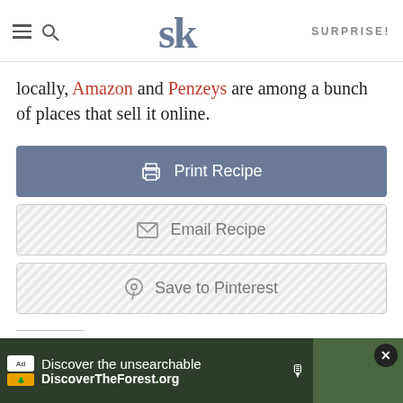SK — SURPRISE!
locally, Amazon and Penzeys are among a bunch of places that sell it online.
[Figure (screenshot): Print Recipe button (blue-grey filled)]
[Figure (screenshot): Email Recipe button (hatched outline)]
[Figure (screenshot): Save to Pinterest button (hatched outline)]
Related
[Figure (photo): Two related article thumbnail images side by side]
[Figure (screenshot): Ad banner: Discover the unsearchable — DiscoverTheForest.org]